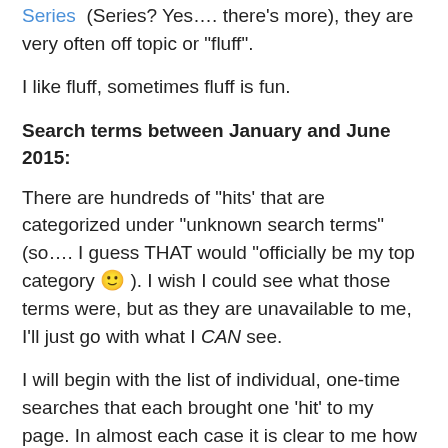Series (Series? Yes…. there's more), they are very often off topic or “fluff”.
I like fluff, sometimes fluff is fun.
Search terms between January and June 2015:
There are hundreds of “hits’ that are categorized under “unknown search terms” (so…. I guess THAT would “officially be my top category 🙂 ). I wish I could see what those terms were, but as they are unavailable to me, I’ll just go with what I CAN see.
I will begin with the list of individual, one-time searches that each brought one ‘hit’ to my page. In almost each case it is clear to me how my page came up in the results. But really, how many results would one have to scroll through to find my page by searching the word –